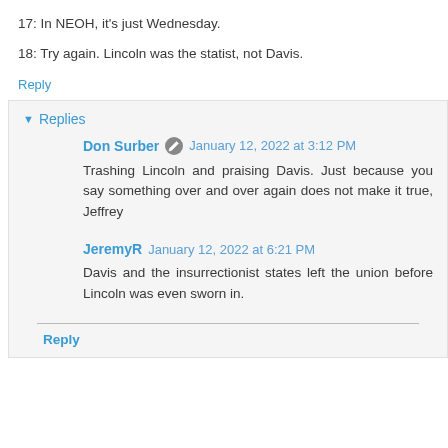17: In NEOH, it's just Wednesday.
18: Try again. Lincoln was the statist, not Davis.
Reply
▾ Replies
Don Surber [edit icon] January 12, 2022 at 3:12 PM
Trashing Lincoln and praising Davis. Just because you say something over and over again does not make it true, Jeffrey
JeremyR January 12, 2022 at 6:21 PM
Davis and the insurrectionist states left the union before Lincoln was even sworn in.
Reply